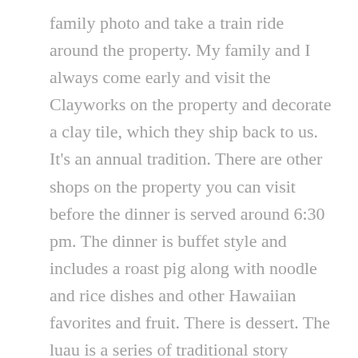family photo and take a train ride around the property. My family and I always come early and visit the Clayworks on the property and decorate a clay tile, which they ship back to us. It's an annual tradition. There are other shops on the property you can visit before the dinner is served around 6:30 pm. The dinner is buffet style and includes a roast pig along with noodle and rice dishes and other Hawaiian favorites and fruit. There is dessert. The luau is a series of traditional story dances for a half hour to hour until about 8:30 to 9 pm. The parking entrance and exit is very efficient. All ages are welcome and the whole event is run very well.